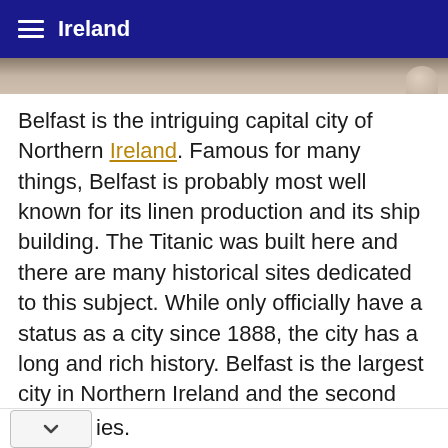Ireland
Belfast is the intriguing capital city of Northern Ireland. Famous for many things, Belfast is probably most well known for its linen production and its ship building. The Titanic was built here and there are many historical sites dedicated to this subject. While only officially have a status as a city since 1888, the city has a long and rich history. Belfast is the largest city in Northern Ireland and the second largest city in all of Ireland.
When visiting Belfast there are many places that a traveler must visit. The city offers a rich variety of historical places, culture based events, shopping and dinning districts, outdoor adventure and leisure activities.